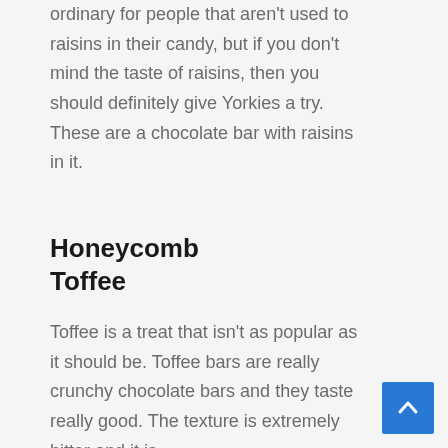ordinary for people that aren't used to raisins in their candy, but if you don't mind the taste of raisins, then you should definitely give Yorkies a try. These are a chocolate bar with raisins in it.
Honeycomb Toffee
Toffee is a treat that isn't as popular as it should be. Toffee bars are really crunchy chocolate bars and they taste really good. The texture is extremely bitter and it is